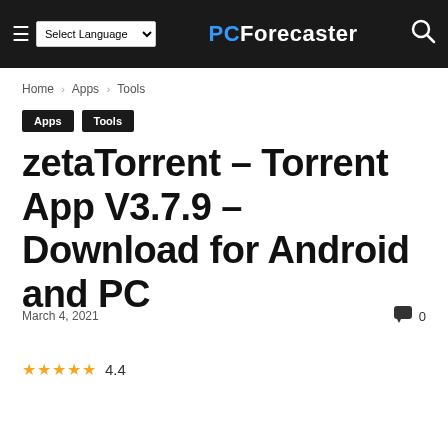PCForecaster — Select Language (dropdown) — search icon
Home › Apps › Tools
Apps
Tools
zetaTorrent – Torrent App V3.7.9 – Download for Android and PC
March 4, 2021   🗨 0
★★★★★ 4.4